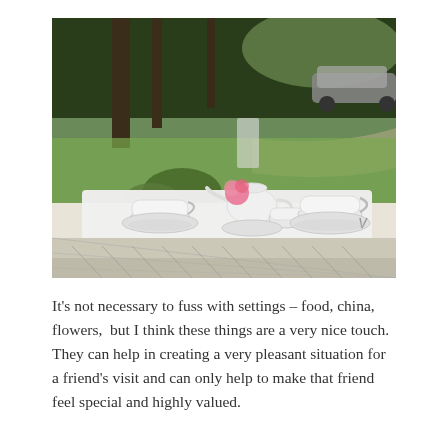[Figure (photo): Outdoor garden tea setting on a white wicker table covered with a white tablecloth. Tea cups on saucers, a teapot, and a pink flower arrangement are placed on the table. Background shows green trees, lawn, and a parked car visible in the upper right.]
It's not necessary to fuss with settings – food, china, flowers,  but I think these things are a very nice touch.  They can help in creating a very pleasant situation for a friend's visit and can only help to make that friend feel special and highly valued.